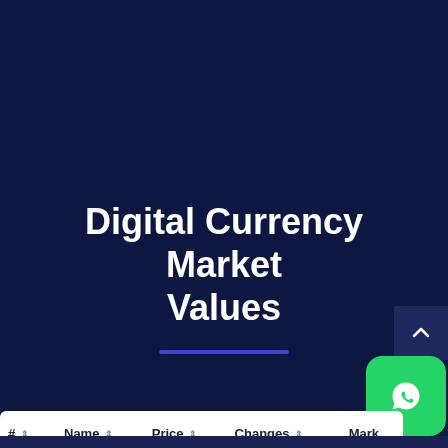Digital Currency Market Values
| # | Name | Price | Changes | Market |
| --- | --- | --- | --- | --- |